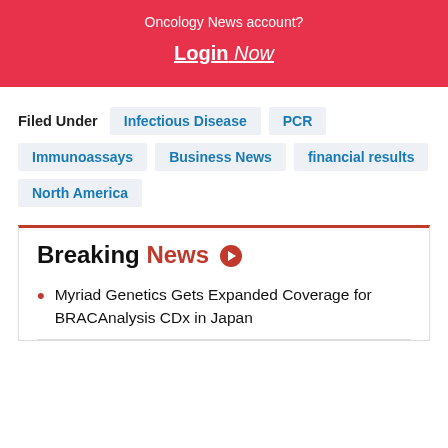Oncology News account?
Login Now
Filed Under
Infectious Disease
PCR
Immunoassays
Business News
financial results
North America
Breaking News
Myriad Genetics Gets Expanded Coverage for BRACAnalysis CDx in Japan